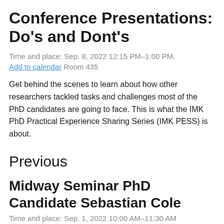Conference Presentations: Do's and Dont's
Time and place: Sep. 8, 2022 12:15 PM–1:00 PM, Add to calendar Room 435
Get behind the scenes to learn about how other researchers tackled tasks and challenges most of the PhD candidates are going to face. This is what the IMK PhD Practical Experience Sharing Series (IMK PESS) is about.
Previous
Midway Seminar PhD Candidate Sebastian Cole
Time and place: Sep. 1, 2022 10:00 AM–11:30 AM